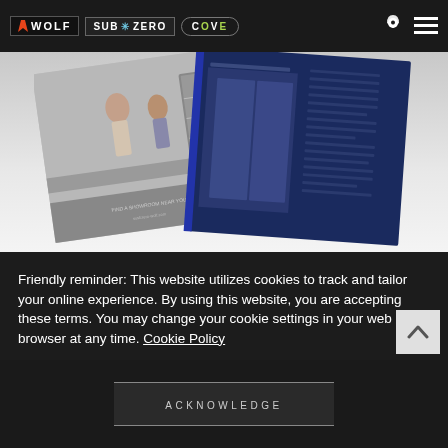[Figure (logo): Navigation bar with Wolf, Sub-Zero, and Cove brand logos, plus location pin and hamburger menu icons on dark background]
[Figure (photo): Product catalog pages spread open showing kitchen scene with refrigerator and dark navy informational spread page]
Friendly reminder: This website utilizes cookies to track and tailor your online experience. By using this website, you are accepting these terms. You may change your cookie settings in your web browser at any time. Cookie Policy
ACKNOWLEDGE